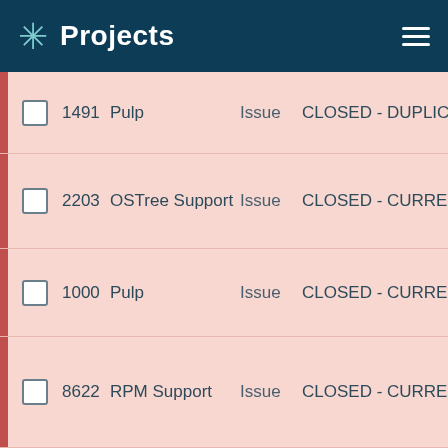Projects
1491  Pulp  Issue  CLOSED - DUPLICATE
2203  OSTree Support  Issue  CLOSED - CURRENTREL
1000  Pulp  Issue  CLOSED - CURRENTREL
8622  RPM Support  Issue  CLOSED - CURRENTREL